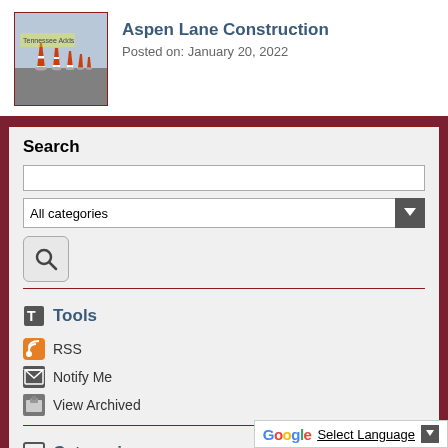[Figure (photo): Traffic cones lined up on a road]
Aspen Lane Construction
Posted on: January 20, 2022
Search
[Figure (screenshot): Search input field (text box)]
[Figure (screenshot): All categories dropdown]
[Figure (screenshot): Search button with magnifying glass icon]
Tools
RSS
Notify Me
View Archived
Categories
All Categories
General
Select Language